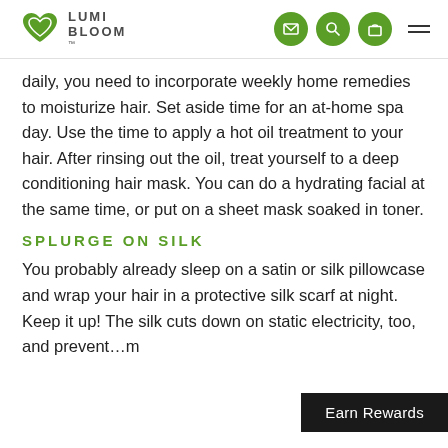LUMI BLOOM
daily, you need to incorporate weekly home remedies to moisturize hair. Set aside time for an at-home spa day. Use the time to apply a hot oil treatment to your hair. After rinsing out the oil, treat yourself to a deep conditioning hair mask. You can do a hydrating facial at the same time, or put on a sheet mask soaked in toner.
SPLURGE ON SILK
You probably already sleep on a satin or silk pillowcase and wrap your hair in a protective silk scarf at night. Keep it up! The silk cuts down on static electricity, too, and prevent...m add the product with a product the